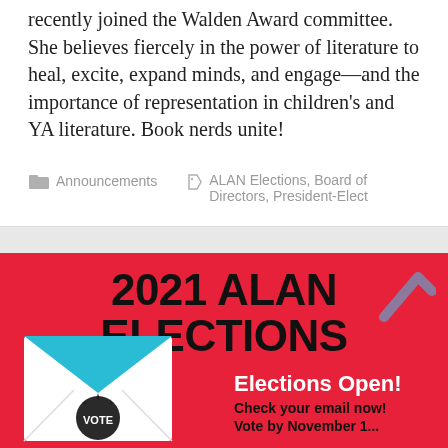recently joined the Walden Award committee. She believes fiercely in the power of literature to heal, excite, expand minds, and engage—and the importance of representation in children's and YA literature. Book nerds unite!
Announcements   ALAN Elections, Board of Directors, President-Elect
[Figure (infographic): Red banner with bold black text '2021 ALAN ELECTIONS', a teal/white envelope illustration with a VOTE badge, white text 'Elections Open!', black text 'Check your email now!' and partially visible 'Vote by November 1...' A blue/gray chevron arrow appears in the upper right.]